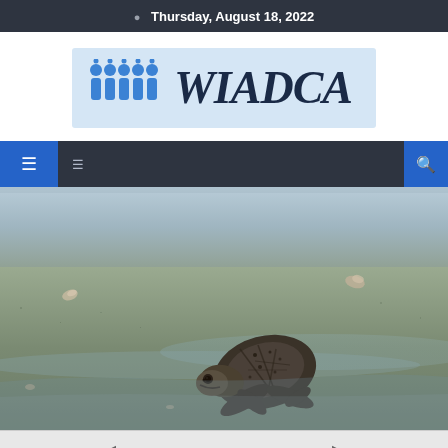Thursday, August 18, 2022
[Figure (logo): WIADCA logo with blue people icon group on light blue background and dark serif WIADCA text]
[Figure (screenshot): Website navigation bar with blue icon buttons on dark background]
[Figure (photo): Close-up photo of a baby sea turtle on wet sandy beach]